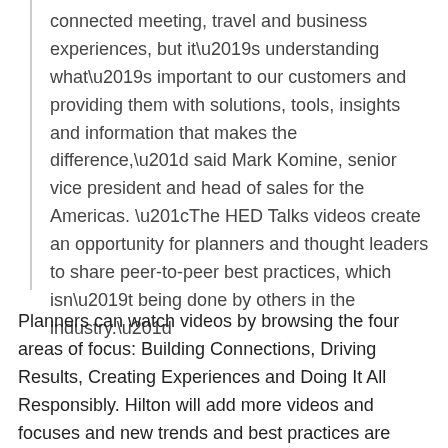connected meeting, travel and business experiences, but it’s understanding what’s important to our customers and providing them with solutions, tools, insights and information that makes the difference,” said Mark Komine, senior vice president and head of sales for the Americas. “The HED Talks videos create an opportunity for planners and thought leaders to share peer-to-peer best practices, which isn’t being done by others in the industry.”
Planners can watch videos by browsing the four areas of focus: Building Connections, Driving Results, Creating Experiences and Doing It All Responsibly. Hilton will add more videos and focuses and new trends and best practices are identified.